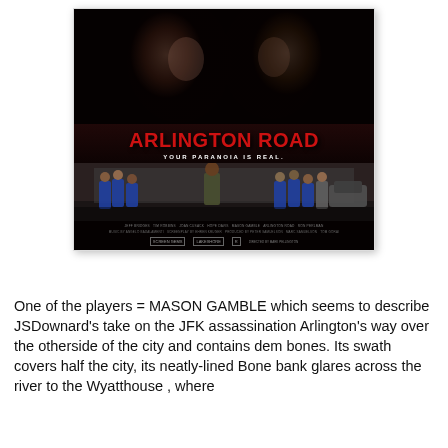[Figure (photo): Movie poster for 'Arlington Road' showing two men's faces in dark dramatic lighting with red countdown numbers on either side, the title 'ARLINGTON ROAD' in large red letters, tagline 'YOUR PARANOIA IS REAL.' and a group of police officers and people below]
One of the players = MASON GAMBLE which seems to describe JSDownard's take on the JFK assassination Arlington's way over the otherside of the city and contains dem bones. Its swath covers half the city, its neatly-lined Bone bank glares across the river to the Wyatthouse , where